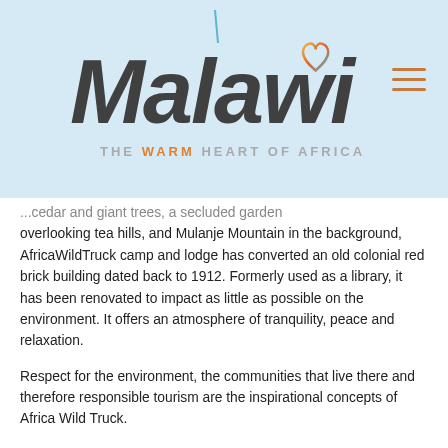[Figure (logo): Malawi The Warm Heart of Africa tourism logo with stylized script lettering and gradient heart icon]
...cedar and giant trees, a secluded garden overlooking tea hills, and Mulanje Mountain in the background, AfricaWildTruck camp and lodge has converted an old colonial red brick building dated back to 1912. Formerly used as a library, it has been renovated to impact as little as possible on the environment. It offers an atmosphere of tranquility, peace and relaxation.
Respect for the environment, the communities that live there and therefore responsible tourism are the inspirational concepts of Africa Wild Truck.
AfricaWildTruck camp and lodge is the break you deserve in nature's own tropical garden.